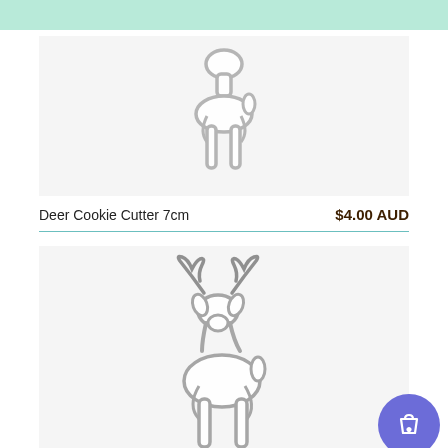[Figure (photo): Metal deer cookie cutter 7cm, simple silhouette shape without antlers, stainless steel]
Deer Cookie Cutter 7cm
$4.00 AUD
[Figure (photo): Metal deer with antlers cookie cutter 7cm, stainless steel, full antlers visible]
Deer with Antlers Cookie Cutter 7cm